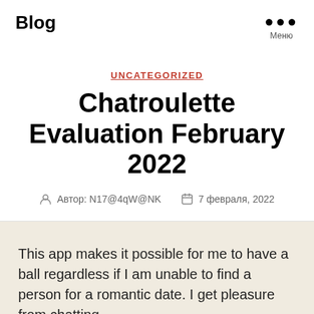Blog
UNCATEGORIZED
Chatroulette Evaluation February 2022
Автор: N17@4qW@NK   7 февраля, 2022
This app makes it possible for me to have a ball regardless if I am unable to find a person for a romantic date. I get pleasure from chatting